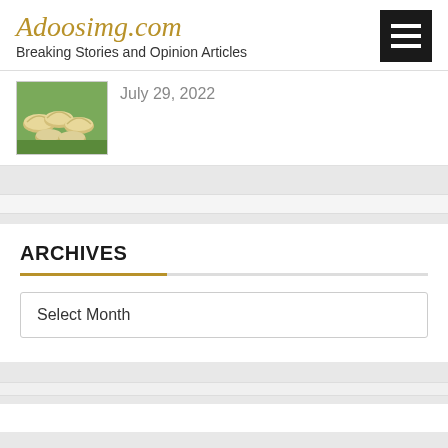Adoosimg.com — Breaking Stories and Opinion Articles
[Figure (photo): Thumbnail image of dumplings on a green herb garnish, with date text 'July 29, 2022' beside it]
ARCHIVES
Select Month